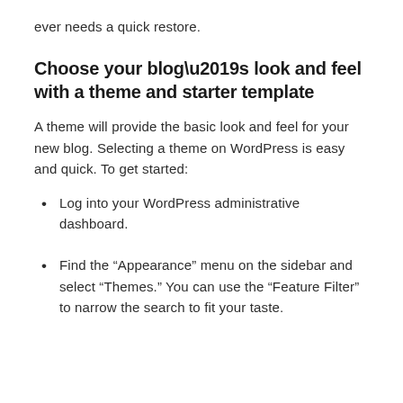ever needs a quick restore.
Choose your blog’s look and feel with a theme and starter template
A theme will provide the basic look and feel for your new blog. Selecting a theme on WordPress is easy and quick. To get started:
Log into your WordPress administrative dashboard.
Find the “Appearance” menu on the sidebar and select “Themes.” You can use the “Feature Filter” to narrow the search to fit your taste.